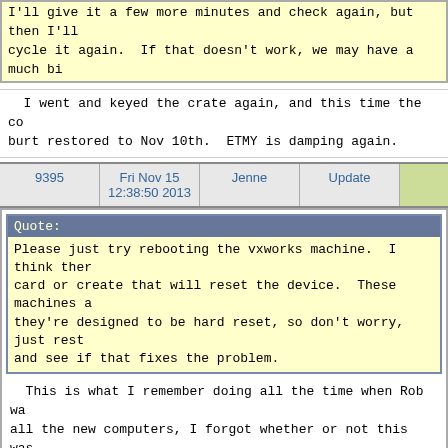I'll give it a few more minutes and check again, but then I'll cycle it again.  If that doesn't work, we may have a much bi
I went and keyed the crate again, and this time the co burt restored to Nov 10th.  ETMY is damping again.
9395  Fri Nov 15 12:38:50 2013  Jenne  Update
Quote:
Please just try rebooting the vxworks machine.  I think ther card or create that will reset the device.  These machines a they're designed to be hard reset, so don't worry, just rest and see if that fixes the problem.
This is what I remember doing all the time when Rob wa all the new computers, I forgot whether or not this was slow computers.

Anyhow, I went down there and keyed the crate, but auxe back.  I'll give it a few more minutes and check again, and power cycle it again.  If that doesn't work, we may problem.
9394  Fri Nov 15 12:00:28 2013  Koji  Update